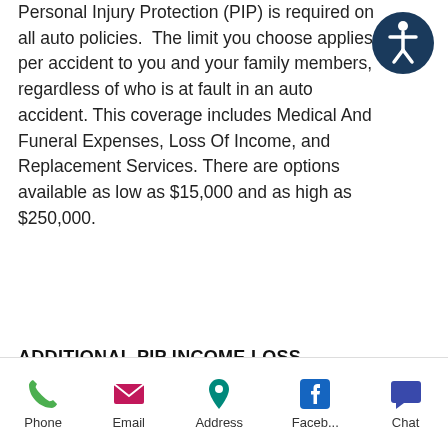Personal Injury Protection (PIP) is required on all auto policies. The limit you choose applies per accident to you and your family members, regardless of who is at fault in an auto accident. This coverage includes Medical And Funeral Expenses, Loss Of Income, and Replacement Services. There are options available as low as $15,000 and as high as $250,000.
[Figure (illustration): Accessibility icon: white stick figure in a circle on a dark navy/teal background]
ADDITIONAL PIP INCOME LOSS
Additional Personal Injury Protection (APIP) makes available higher limits than basic Personal Injury Protection (PIP) for income continuation,
Phone  Email  Address  Faceb...  Chat